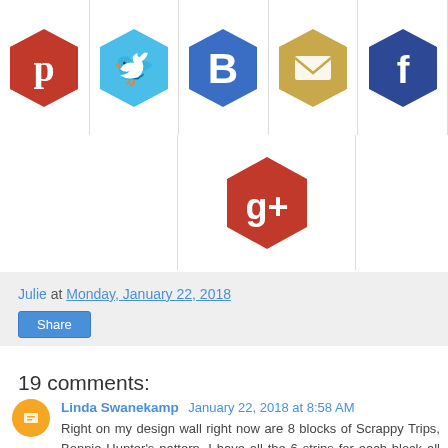[Figure (other): Social media sharing icons (Pinterest, Twitter, Blogger, Email, Facebook, Google+) as hexagonal shapes]
Julie at Monday, January 22, 2018
Share
19 comments:
Linda Swanekamp  January 22, 2018 at 8:58 AM
Right on my design wall right now are 8 blocks of Scrappy Trips, Bonnie Hunter's pattern. I have all the 6 strips for each block all ready to sew. So, I am a little confused- the first photo- what method made that one and what was the square size? I have no objections to laying it out square by